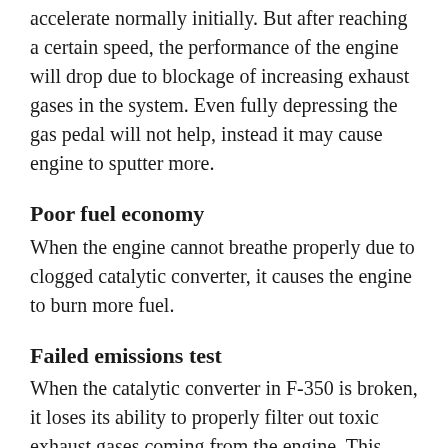accelerate normally initially. But after reaching a certain speed, the performance of the engine will drop due to blockage of increasing exhaust gases in the system. Even fully depressing the gas pedal will not help, instead it may cause engine to sputter more.
Poor fuel economy
When the engine cannot breathe properly due to clogged catalytic converter, it causes the engine to burn more fuel.
Failed emissions test
When the catalytic converter in F-350 is broken, it loses its ability to properly filter out toxic exhaust gases coming from the engine. This causes the vehicle to fail an emissions